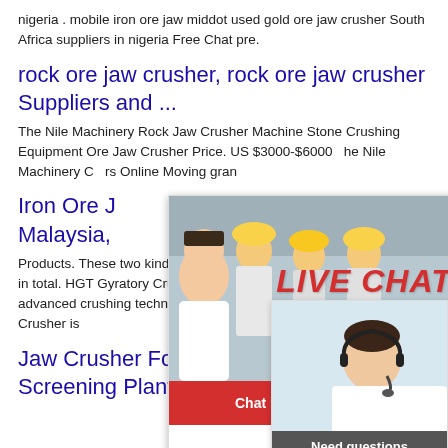nigeria . mobile iron ore jaw middot used gold ore jaw crusher South Africa suppliers in nigeria Free Chat pre.
rock ore jaw crusher, rock ore jaw crusher Suppliers and ...
The Nile Machinery Rock Jaw Crusher Machine Stone Crushing Equipment Ore Jaw Crusher Price. US $3000-$6000... The Nile Machinery C... Moving gran...
Iron Ore J... Malaysia, Stone Crusher ...
Products. These two kinds of have 7 seri... in total. HGT Gyratory Crusher. Owning i... advanced crushing technologies, the HG... Crusher is
[Figure (screenshot): Live chat popup overlay with workers in hard hats, red LIVE CHAT text, 'Click for a Free Consultation', Chat now and Chat later buttons]
[Figure (screenshot): Right-side chat widget showing female agent with headset, 'Need questions & suggestion?' text, Chat Now red button, and Enquire bar]
Jaw Crusher For Sale - Aimix Cru... Screening Plant